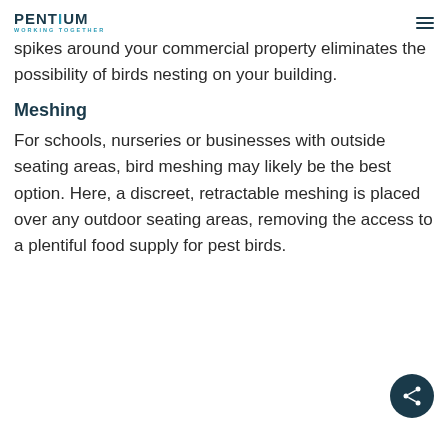PENTIUM WORKING TOGETHER
spikes around your commercial property eliminates the possibility of birds nesting on your building.
Meshing
For schools, nurseries or businesses with outside seating areas, bird meshing may likely be the best option. Here, a discreet, retractable meshing is placed over any outdoor seating areas, removing the access to a plentiful food supply for pest birds.